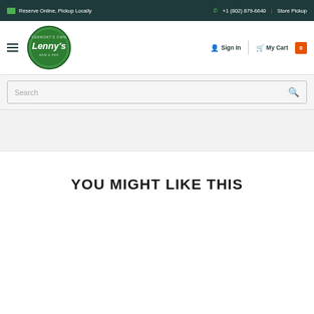Reserve Online, Pickup Locally | +1 (802) 879-6640 | Store Pickup
[Figure (logo): Lenny's store logo - green oval badge with brand name]
Sign In | My Cart 0
Search
YOU MIGHT LIKE THIS